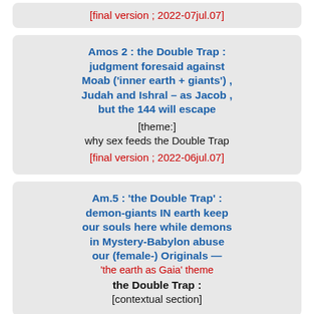[final version ; 2022-07jul.07]
Amos 2 : the Double Trap : judgment foresaid against Moab ('inner earth + giants') , Judah and Ishral – as Jacob , but the 144 will escape
[theme:] why sex feeds the Double Trap
[final version ; 2022-06jul.07]
Am.5 : 'the Double Trap' : demon-giants IN earth keep our souls here while demons in Mystery-Babylon abuse our (female-) Originals — 'the earth as Gaia' theme the Double Trap : [contextual section]